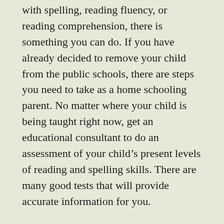with spelling, reading fluency, or reading comprehension, there is something you can do.  If you have already decided to remove your child from the public schools, there are steps you need to take as a home schooling parent.  No matter where your child is being taught right now, get an educational consultant to do an assessment of your child's present levels of reading and spelling skills.  There are many good tests that will provide accurate information for you.
Public school parents may want to avoid paying a consultant.  You are entitled to request a complete evaluation of the child at no cost as a provision of the Individuals with Disabilities Education Act (IDEA).  Your request MUST be